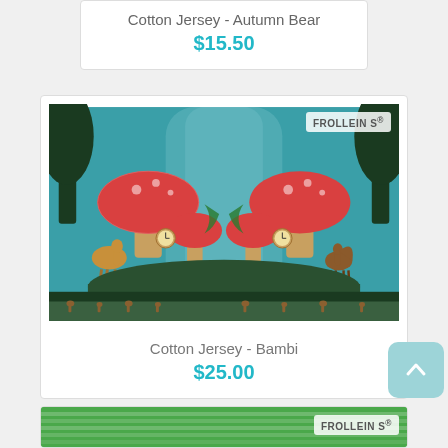Cotton Jersey - Autumn Bear
$15.50
[Figure (photo): Fabric print showing a enchanted forest scene with red mushrooms, a fawn (deer), a squirrel, pocket watches, and woodland animals on a teal/blue misty background. FROLLEIN S® brand badge in top right corner. Product: Cotton Jersey - Bambi]
Cotton Jersey - Bambi
$25.00
[Figure (photo): Partial view of another fabric product with green striped pattern. FROLLEIN S® brand badge visible in top right corner.]